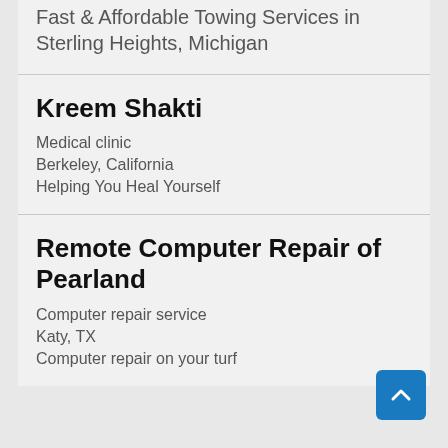Fast & Affordable Towing Services in Sterling Heights, Michigan
Kreem Shakti
Medical clinic
Berkeley, California
Helping You Heal Yourself
Remote Computer Repair of Pearland
Computer repair service
Katy, TX
Computer repair on your turf